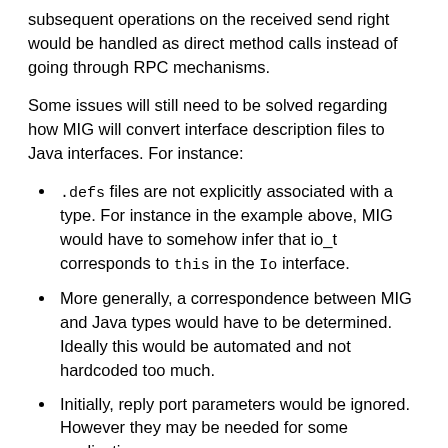subsequent operations on the received send right would be handled as direct method calls instead of going through RPC mechanisms.
Some issues will still need to be solved regarding how MIG will convert interface description files to Java interfaces. For instance:
.defs files are not explicitly associated with a type. For instance in the example above, MIG would have to somehow infer that io_t corresponds to this in the Io interface.
More generally, a correspondence between MIG and Java types would have to be determined. Ideally this would be automated and not hardcoded too much.
Initially, reply port parameters would be ignored. However they may be needed for some applications.
So the details would need to be flushed out during the community bonding period and as the implementation progresses. However I'm confident that a satisfactory solution can be designed.
It is also worth mentioning that in the current architecture,